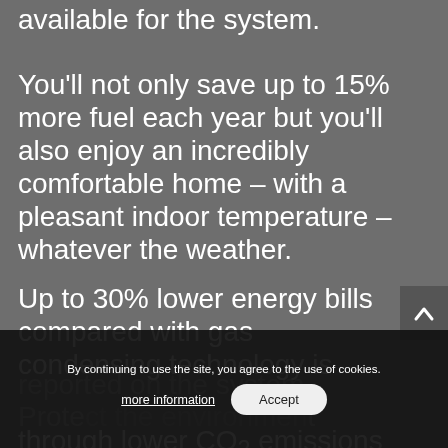available for the system.
You'll not only save up to 15% more fuel each year but you'll also enjoy an incredibly comfortable home – with a pleasant indoor temperature – whatever the weather.
Up to 30% lower energy bills compared with gas condensing technology is reported on the system.
Protect the environment through lower CO2 emissions
By continuing to use the site, you agree to the use of cookies.
more information
Accept